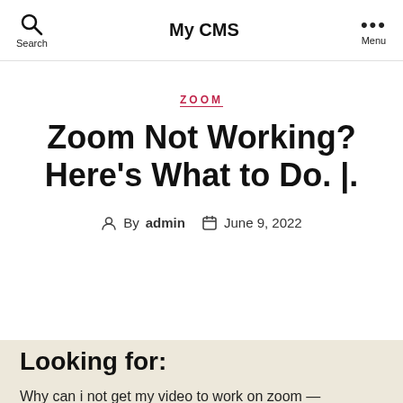My CMS
ZOOM
Zoom Not Working? Here's What to Do. |.
By admin   June 9, 2022
Looking for:
Why can i not get my video to work on zoom —